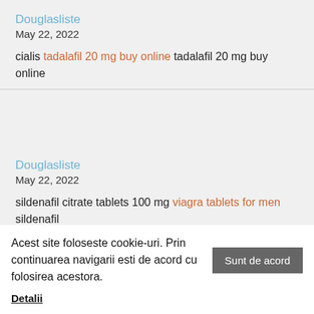Douglasliste
May 22, 2022
cialis tadalafil 20 mg buy online tadalafil 20 mg buy online
Douglasliste
May 22, 2022
sildenafil citrate tablets 100 mg viagra tablets for men sildenafil
Acest site foloseste cookie-uri. Prin continuarea navigarii esti de acord cu folosirea acestora. Sunt de acord Detalii